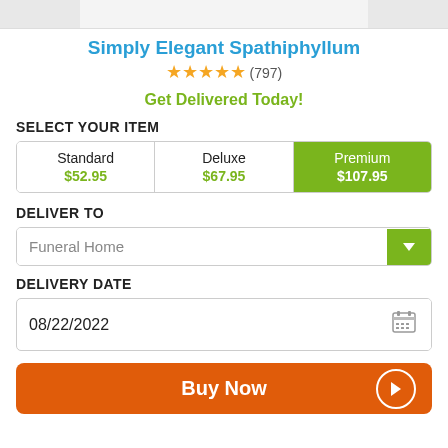[Figure (photo): Cropped top of product image (flower plant)]
Simply Elegant Spathiphyllum
★★★★★ (797)
Get Delivered Today!
SELECT YOUR ITEM
| Standard | Deluxe | Premium |
| --- | --- | --- |
| $52.95 | $67.95 | $107.95 |
DELIVER TO
Funeral Home
DELIVERY DATE
08/22/2022
Buy Now